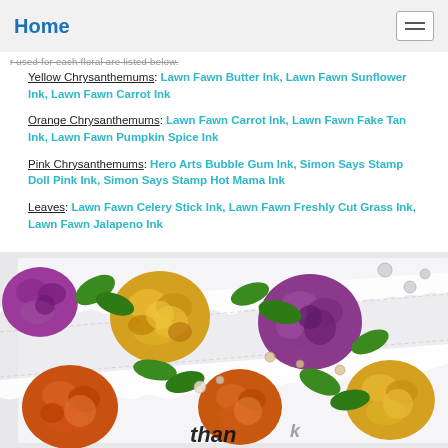Home
r used for each floral are listed below.
Yellow Chrysanthemums: Lawn Fawn Butter Ink, Lawn Fawn Sunflower Ink, Lawn Fawn Carrot Ink
Orange Chrysanthemums: Lawn Fawn Carrot Ink, Lawn Fawn Fake Tan Ink, Lawn Fawn Pumpkin Spice Ink
Pink Chrysanthemums: Hero Arts Bubble Gum Ink, Simon Says Stamp Doll Pink Ink, Simon Says Stamp Hot Mama Ink
Leaves: Lawn Fawn Celery Stick Ink, Lawn Fawn Freshly Cut Grass Ink, Lawn Fawn Jalapeno Ink
[Figure (photo): Close-up photo of a handmade card featuring colorful chrysanthemum flowers in purple, yellow, orange, and green leaves, with pearl embellishments and a 'thank' text visible at the bottom, on a white scalloped background.]